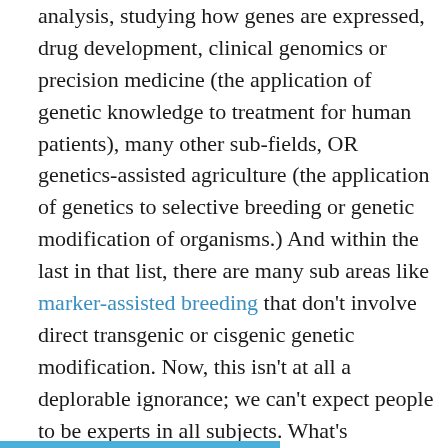analysis, studying how genes are expressed, drug development, clinical genomics or precision medicine (the application of genetic knowledge to treatment for human patients), many other sub-fields, OR genetics-assisted agriculture (the application of genetics to selective breeding or genetic modification of organisms.) And within the last in that list, there are many sub areas like marker-assisted breeding that don't involve direct transgenic or cisgenic genetic modification. Now, this isn't at all a deplorable ignorance; we can't expect people to be experts in all subjects. What's deplorable is the utter unwillingness to hear reason.